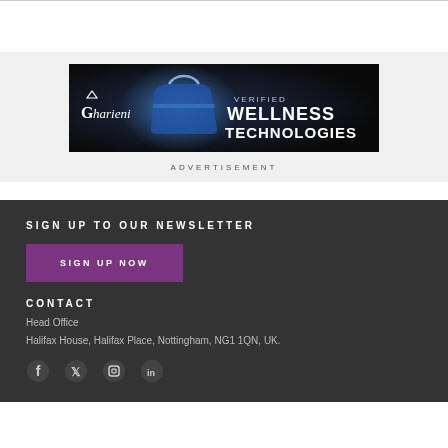[Figure (illustration): Advertisement banner for Gharieni Verified Wellness Technologies — dark blue background with handbag image and brand logo text]
ADVERTISEMENT
SIGN UP TO OUR NEWSLETTER
SIGN UP NOW
CONTACT
Head Office
Halifax House, Halifax Place, Nottingham, NG1 1QN, UK.
[Figure (illustration): Social media icons: Facebook, Twitter, Instagram, LinkedIn]